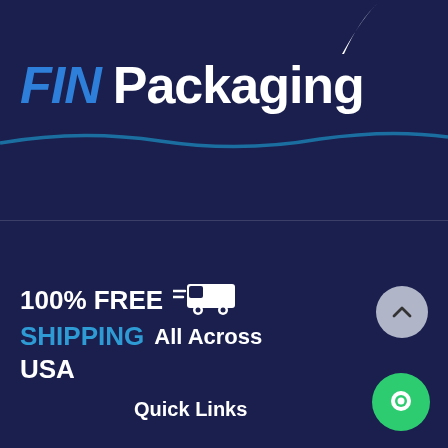[Figure (logo): FIN Packaging logo with white fin/shark shape at top, blue italic FIN text and white Packaging text, with a teal wave underline on dark navy background]
100% FREE SHIPPING All Across USA
[Figure (illustration): White delivery van icon with speed lines]
[Figure (illustration): Grey circular scroll-to-top button with upward chevron arrow]
Quick Links
[Figure (illustration): Green circular chat/message button with white speech bubble icon]